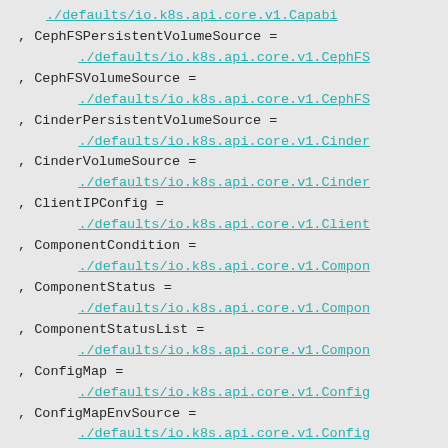./defaults/io.k8s.api.core.v1.Capabi
, CephFSPersistentVolumeSource =
    ./defaults/io.k8s.api.core.v1.CephFS
, CephFSVolumeSource =
    ./defaults/io.k8s.api.core.v1.CephFS
, CinderPersistentVolumeSource =
    ./defaults/io.k8s.api.core.v1.Cinder
, CinderVolumeSource =
    ./defaults/io.k8s.api.core.v1.Cinder
, ClientIPConfig =
    ./defaults/io.k8s.api.core.v1.Client
, ComponentCondition =
    ./defaults/io.k8s.api.core.v1.Compon
, ComponentStatus =
    ./defaults/io.k8s.api.core.v1.Compon
, ComponentStatusList =
    ./defaults/io.k8s.api.core.v1.Compon
, ConfigMap =
    ./defaults/io.k8s.api.core.v1.Config
, ConfigMapEnvSource =
    ./defaults/io.k8s.api.core.v1.Config
, ConfigMapKeySelector